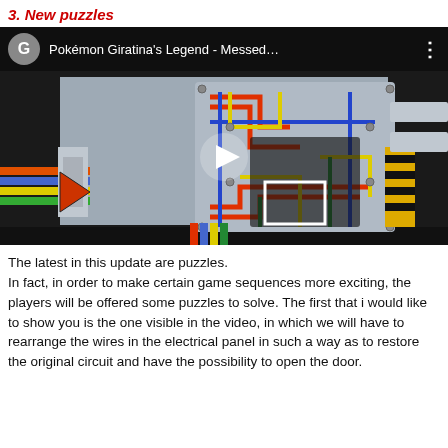3. New puzzles
[Figure (screenshot): YouTube-style video thumbnail showing a puzzle game scene — a colorful wire electrical panel puzzle with wires in red, blue, yellow, green colors. The video has a dark top bar with a grey avatar circle with letter G, the title 'Pokémon Giratina's Legend - Messed…', and three dots menu. A white play button triangle is centered on the video.]
The latest in this update are puzzles.
In fact, in order to make certain game sequences more exciting, the players will be offered some puzzles to solve. The first that i would like to show you is the one visible in the video, in which we will have to rearrange the wires in the electrical panel in such a way as to restore the original circuit and have the possibility to open the door.